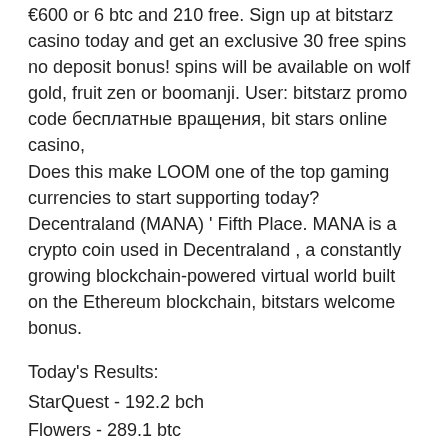€600 or 6 btc and 210 free. Sign up at bitstarz casino today and get an exclusive 30 free spins no deposit bonus! spins will be available on wolf gold, fruit zen or boomanji. User: bitstarz promo code бесплатные вращения, bit stars online casino, Does this make LOOM one of the top gaming currencies to start supporting today? Decentraland (MANA) ' Fifth Place. MANA is a crypto coin used in Decentraland , a constantly growing blockchain-powered virtual world built on the Ethereum blockchain, bitstars welcome bonus.
Today's Results:
StarQuest - 192.2 bch
Flowers - 289.1 btc
Mighty Rex - 179.8 usdt
The Giant - 392 bch
True Illusions - 191.1 usdt
Aura of Jupiter moorhuhn Shooter - 741.5 ltc